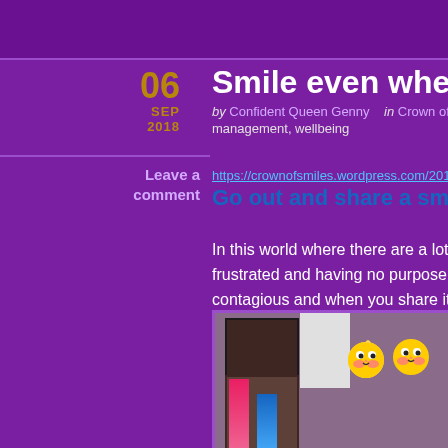Smile even when someone does not smi…
by Confident Queen Genny   in Crown of Smiles   Tags: goals, management, wellbeing
Leave a comment
Go out and share a smile #ISmileBack
In this world where there are a lot of people suffering, fee… frustrated and having no purpose, the least we can do is to… contagious and when you share it with someone it can ch… my Tshirt walking down the road, and watch as people re…
[Figure (photo): A photo of a person with emoji chick stickers overlaid, inside a room with a wooden cabinet and framed artwork on the wall]